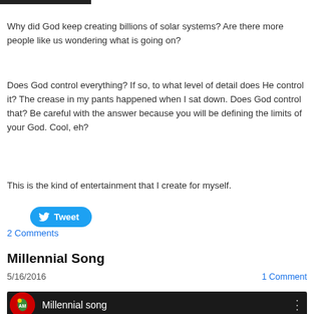[Figure (photo): Partial dark image at top of page]
Why did God keep creating billions of solar systems?  Are there more people like us wondering what is going on?
Does God control everything? If so, to what level of detail does He control it? The crease in my pants happened when I sat down.  Does God control that?  Be careful with the answer because you will be defining the limits of your God.  Cool, eh?
This is the kind of entertainment that I create for myself.
[Figure (other): Twitter Tweet button]
2 Comments
Millennial Song
5/16/2016
1 Comment
[Figure (screenshot): Video thumbnail for Millennial song]